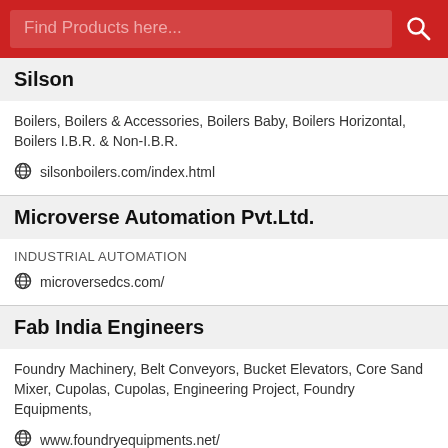[Figure (screenshot): Red search bar at top with placeholder text 'Find Products here...' and a search icon on the right]
Silson
Boilers, Boilers & Accessories, Boilers Baby, Boilers Horizontal, Boilers I.B.R. & Non-I.B.R.
silsonboilers.com/index.html
Microverse Automation Pvt.Ltd.
INDUSTRIAL AUTOMATION
microversedcs.com/
Fab India Engineers
Foundry Machinery, Belt Conveyors, Bucket Elevators, Core Sand Mixer, Cupolas, Cupolas, Engineering Project, Foundry Equipments,
www.foundryequipments.net/
A.S.Automation & Controls